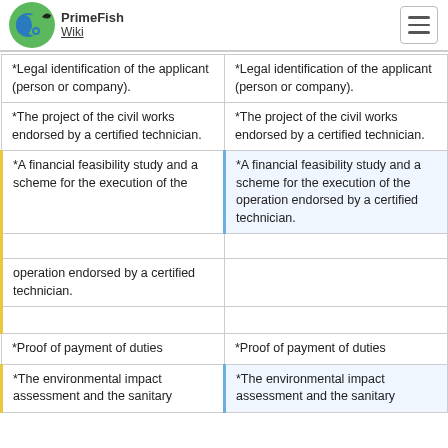PrimeFish Wiki
| Column A | Column B |
| --- | --- |
| *Legal identification of the applicant (person or company). | *Legal identification of the applicant (person or company). |
| *The project of the civil works endorsed by a certified technician. | *The project of the civil works endorsed by a certified technician. |
| *A financial feasibility study and a scheme for the execution of the [operation endorsed by a certified technician.] | *A financial feasibility study and a scheme for the execution of the operation endorsed by a certified technician. |
| *Proof of payment of duties | *Proof of payment of duties |
| *The environmental impact assessment and the sanitary | *The environmental impact assessment and the sanitary |